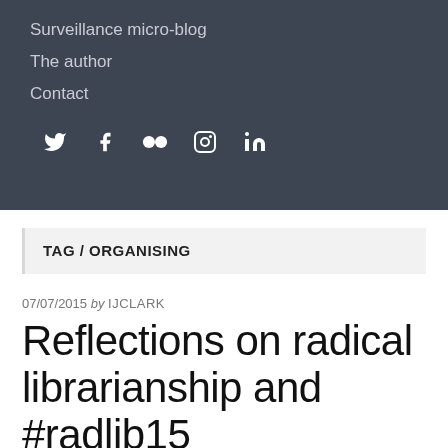Surveillance micro-blog
The author
Contact
[Figure (infographic): Social media icon bar showing Twitter, Facebook, Flickr, Instagram, and LinkedIn icons in white on dark background]
TAG / ORGANISING
07/07/2015 by IJCLARK
Reflections on radical librarianship and #radlib15